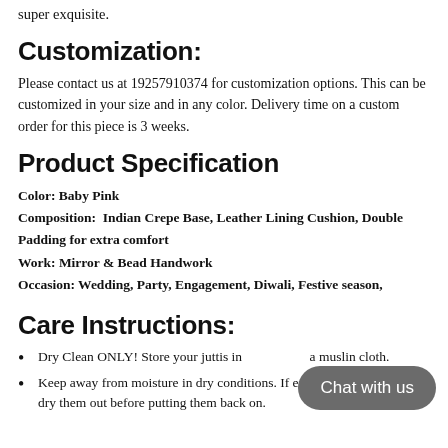super exquisite.
Customization:
Please contact us at 19257910374 for customization options. This can be customized in your size and in any color. Delivery time on a custom order for this piece is 3 weeks.
Product Specification
Color: Baby Pink
Composition: Indian Crepe Base, Leather Lining Cushion, Double Padding for extra comfort
Work: Mirror & Bead Handwork
Occasion: Wedding, Party, Engagement, Diwali, Festive season,
Care Instructions:
Dry Clean ONLY! Store your juttis in a muslin cloth.
Keep away from moisture in dry conditions. If exposed to moisture, do dry them out before putting them back on.